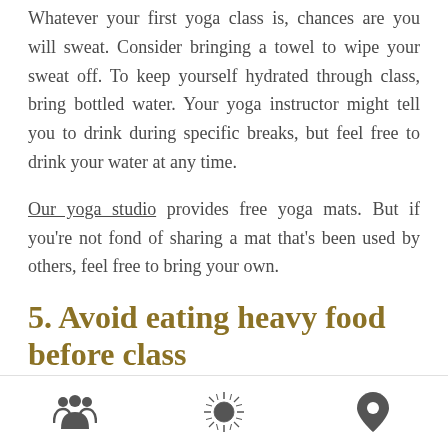Whatever your first yoga class is, chances are you will sweat. Consider bringing a towel to wipe your sweat off. To keep yourself hydrated through class, bring bottled water. Your yoga instructor might tell you to drink during specific breaks, but feel free to drink your water at any time.
Our yoga studio provides free yoga mats. But if you're not fond of sharing a mat that's been used by others, feel free to bring your own.
5. Avoid eating heavy food before class
Yoga is best practiced on an empty stomach. If it's
footer icons: group, emblem, location